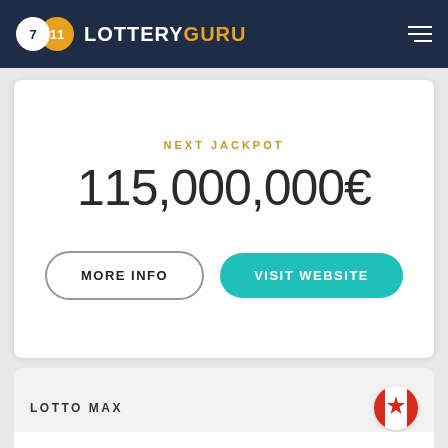LOTTERYGURU
NEXT JACKPOT
115,000,000€
MORE INFO
VISIT WEBSITE
LOTTO MAX
[Figure (logo): Lotto Max logo with blue and green letters on white background]